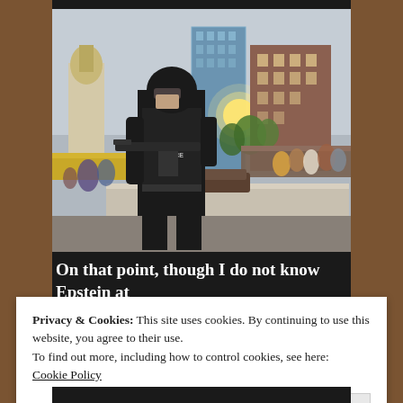[Figure (photo): A police officer in tactical gear and helmet holding an assault rifle, standing in front of city buildings and a crowd of people in an urban setting.]
On that point, though I do not know Epstein at
Privacy & Cookies: This site uses cookies. By continuing to use this website, you agree to their use.
To find out more, including how to control cookies, see here:
Cookie Policy
Close and accept